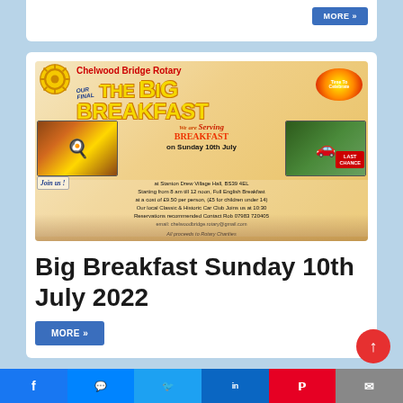[Figure (infographic): Chelwood Bridge Rotary Big Breakfast event flyer with rotary logo, event details for Sunday 10th July at Stanton Drew Village Hall, BS39 4EL, starting 8am till 12 noon, Full English Breakfast at £9.50 per person (£5 for children under 14), Classic & Historic Car Club joins at 10:30, reservations contact Rob 07983 720405, email chelwoodbridge.rotary@gmail.com, all proceeds to Rotary Charities]
Big Breakfast Sunday 10th July 2022